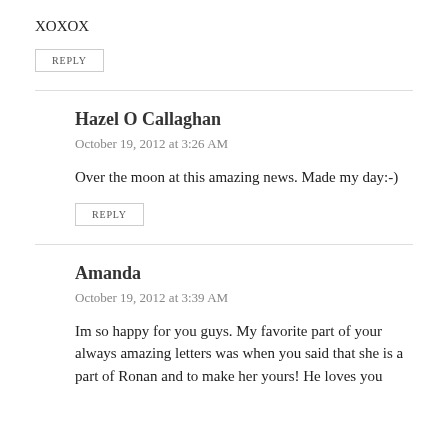XOXOX
REPLY
Hazel O Callaghan
October 19, 2012 at 3:26 AM
Over the moon at this amazing news. Made my day:-)
REPLY
Amanda
October 19, 2012 at 3:39 AM
Im so happy for you guys. My favorite part of your always amazing letters was when you said that she is a part of Ronan and to make her yours! He loves you